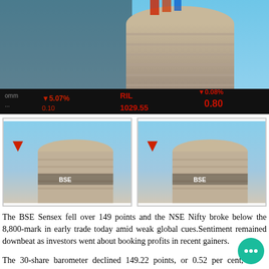[Figure (photo): BSE building exterior with stock ticker board showing RIL 1029.55 -0.08% 0.80, against blue sky background]
[Figure (photo): Two smaller photos of BSE Sensex building with red downward arrow logos]
The BSE Sensex fell over 149 points and the NSE Nifty broke below the 8,800-mark in early trade today amid weak global cues.Sentiment remained downbeat as investors went about booking profits in recent gainers.
The 30-share barometer declined 149.22 points, or 0.52 per cent, to 28,519, with sectoral indices led by realty, banking and auto accounting for much of the losses, falling by up to 0.94 per cent. The index had lost 104.91 points in the previous session on Monday.